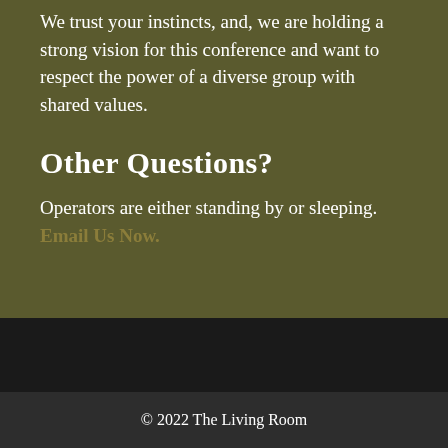We trust your instincts, and, we are holding a strong vision for this conference and want to respect the power of a diverse group with shared values.
Other Questions?
Operators are either standing by or sleeping. Email Us Now.
© 2022 The Living Room